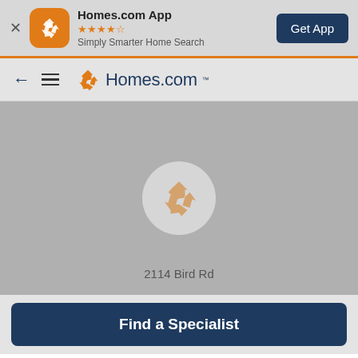[Figure (screenshot): Homes.com app install banner with orange app icon, star rating, tagline 'Simply Smarter Home Search', and 'Get App' dark blue button]
[Figure (screenshot): Homes.com website navigation bar with back arrow, hamburger menu, and Homes.com logo]
[Figure (screenshot): Gray map area showing Homes.com logo placeholder pin and address label '2114 Bird Rd']
2114 Bird Rd
[Figure (screenshot): 'Find a Specialist' dark blue button at the bottom of the page]